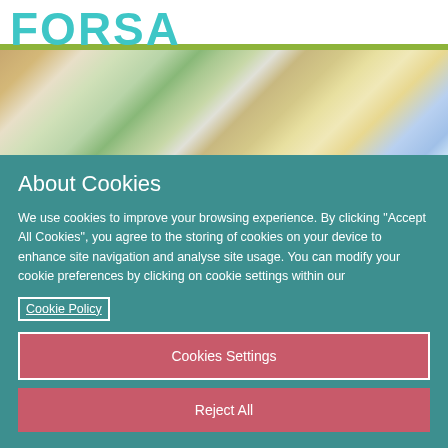FORSA
[Figure (photo): School classroom hallway with colorful decorations, bulletin boards, wooden lockers, and yellow door visible in background]
About Cookies
We use cookies to improve your browsing experience. By clicking “Accept All Cookies”, you agree to the storing of cookies on your device to enhance site navigation and analyse site usage. You can modify your cookie preferences by clicking on cookie settings within our Cookie Policy
Cookies Settings
Reject All